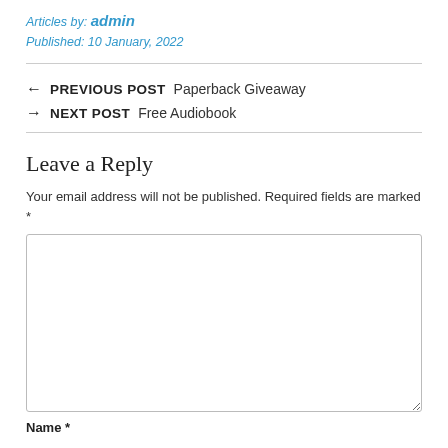Articles by: admin
Published: 10 January, 2022
← PREVIOUS POST  Paperback Giveaway
→ NEXT POST  Free Audiobook
Leave a Reply
Your email address will not be published. Required fields are marked *
Name *